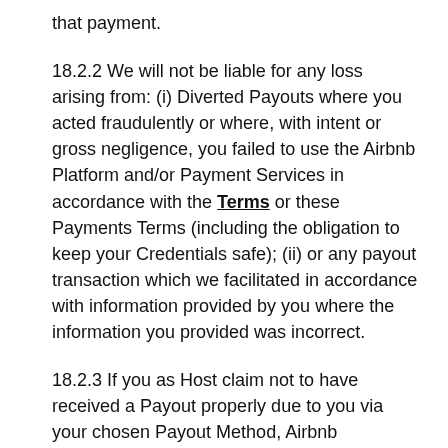that payment.
18.2.2 We will not be liable for any loss arising from: (i) Diverted Payouts where you acted fraudulently or where, with intent or gross negligence, you failed to use the Airbnb Platform and/or Payment Services in accordance with the Terms or these Payments Terms (including the obligation to keep your Credentials safe); (ii) or any payout transaction which we facilitated in accordance with information provided by you where the information you provided was incorrect.
18.2.3 If you as Host claim not to have received a Payout properly due to you via your chosen Payout Method, Airbnb Payments Luxembourg will (if requested) make immediate efforts to trace the payment and will notify you of the